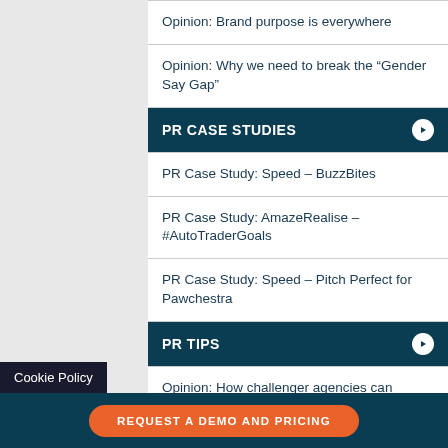Opinion: Brand purpose is everywhere
Opinion: Why we need to break the “Gender Say Gap”
PR CASE STUDIES
PR Case Study: Speed – BuzzBites
PR Case Study: AmazeRealise – #AutoTraderGoals
PR Case Study: Speed – Pitch Perfect for Pawchestra
PR TIPS
Opinion: How challenger agencies can compete with the big agency networks
Cookie Policy
REQUEST A DEMO AND PRICING